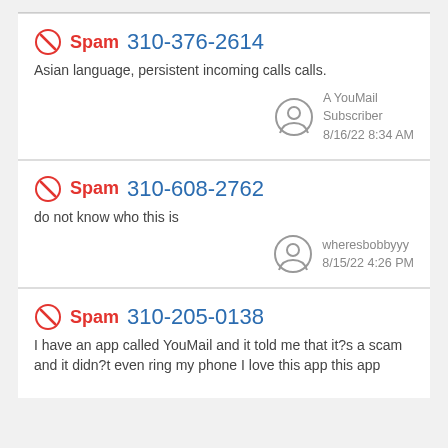Spam 310-376-2614
Asian language, persistent incoming calls calls.
A YouMail Subscriber 8/16/22 8:34 AM
Spam 310-608-2762
do not know who this is
wheresbobbyyy 8/15/22 4:26 PM
Spam 310-205-0138
I have an app called YouMail and it told me that it?s a scam and it didn?t even ring my phone I love this app this app